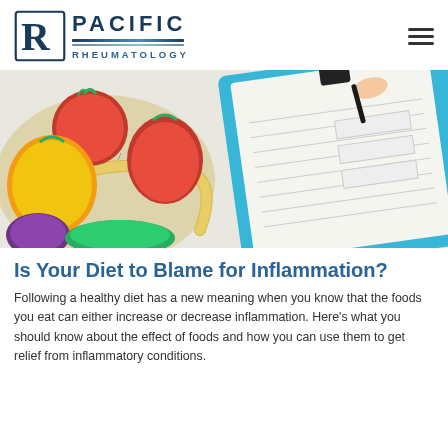Pacific Rheumatology
[Figure (photo): Photo of colorful vegetables (tomatoes, bell peppers) with a measuring tape and a clipboard with medical forms being written on by a hand holding a pen]
Is Your Diet to Blame for Inflammation?
Following a healthy diet has a new meaning when you know that the foods you eat can either increase or decrease inflammation. Here's what you should know about the effect of foods and how you can use them to get relief from inflammatory conditions.